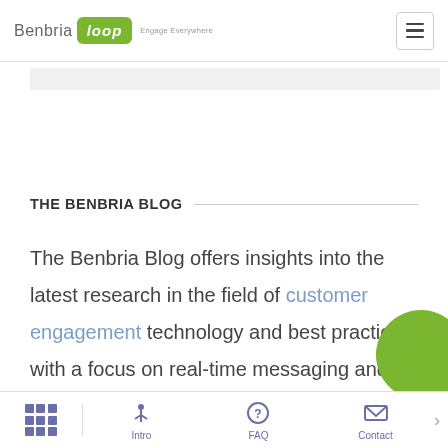Benbria Loop — Engage Everywhere
THE BENBRIA BLOG
The Benbria Blog offers insights into the latest research in the field of customer engagement technology and best practices, with a focus on real-time messaging and measurement of the experi…
Grid | Intro | FAQ | Contact